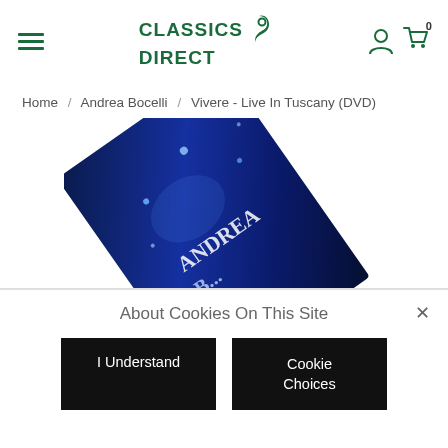[Figure (logo): Classics Direct logo with green text and swirl graphic]
Home / Andrea Bocelli / Vivere - Live In Tuscany (DVD)
[Figure (photo): DVD cover for Andrea Bocelli Vivere - Live In Tuscany, partially visible, tilted, dark blue background with star motifs]
About Cookies On This Site
I Understand
Cookie Choices